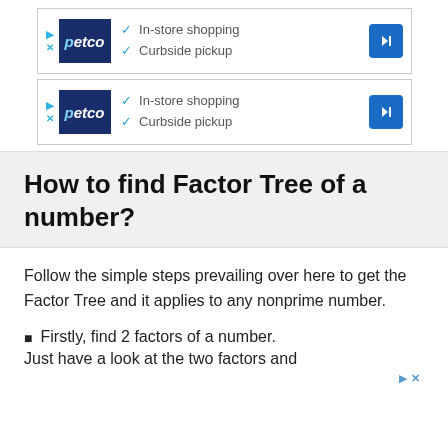[Figure (infographic): Petco ad banner showing logo, In-store shopping and Curbside pickup checkmarks, and a blue direction arrow icon]
[Figure (infographic): Petco ad banner (duplicate) showing logo, In-store shopping and Curbside pickup checkmarks, and a blue direction arrow icon]
How to find Factor Tree of a number?
Follow the simple steps prevailing over here to get the Factor Tree and it applies to any nonprime number.
Firstly, find 2 factors of a number.
Just have a look at the two factors and